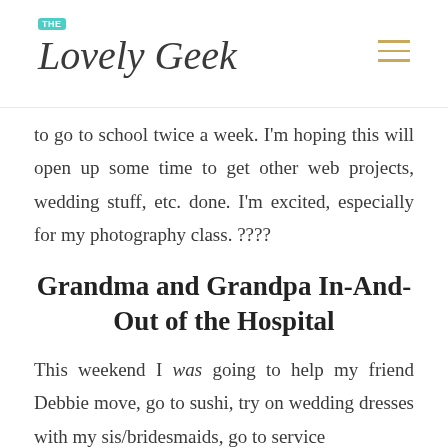The Lovely Geek
to go to school twice a week. I'm hoping this will open up some time to get other web projects, wedding stuff, etc. done. I'm excited, especially for my photography class. ????
Grandma and Grandpa In-And-Out of the Hospital
This weekend I was going to help my friend Debbie move, go to sushi, try on wedding dresses with my sis/bridesmaids, go to service